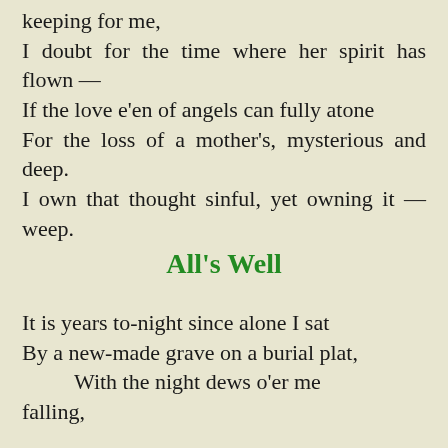keeping for me,
I doubt for the time where her spirit has flown —
If the love e’en of angels can fully atone
For the loss of a mother’s, mysterious and deep.
I own that thought sinful, yet owning it — weep.
All’s Well
It is years to-night since alone I sat
By a new-made grave on a burial plat,
    With the night dews o’er me falling,